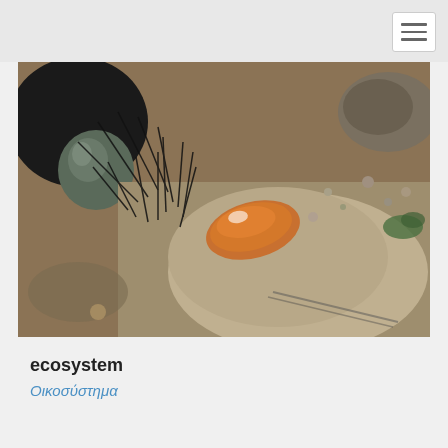[Figure (photo): Close-up underwater photo of a sea urchin with long dark spines, a small orange/brown cowrie shell or similar mollusc, and rocky substrate covered in fine sediment. Green algae visible in the background.]
ecosystem
Οικοσύστημα